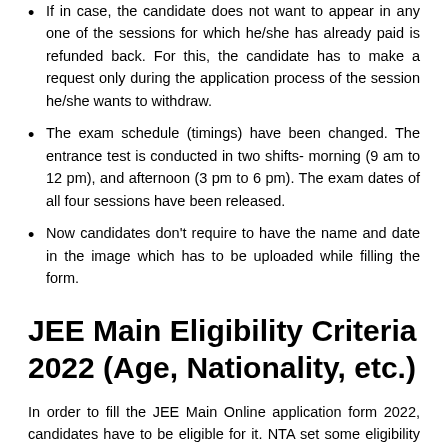If in case, the candidate does not want to appear in any one of the sessions for which he/she has already paid is refunded back. For this, the candidate has to make a request only during the application process of the session he/she wants to withdraw.
The exam schedule (timings) have been changed. The entrance test is conducted in two shifts- morning (9 am to 12 pm), and afternoon (3 pm to 6 pm). The exam dates of all four sessions have been released.
Now candidates don't require to have the name and date in the image which has to be uploaded while filling the form.
JEE Main Eligibility Criteria 2022 (Age, Nationality, etc.)
In order to fill the JEE Main Online application form 2022, candidates have to be eligible for it. NTA set some eligibility criteria for the students appearing in the 2022 session. Without having the eligibility set by the NTA, no one can apply for the JEE